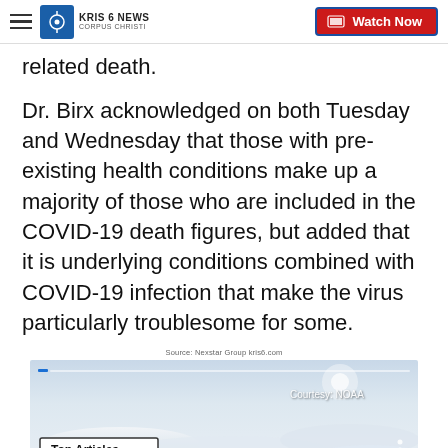KRIS 6 NEWS CORPUS CHRISTI | Watch Now
related death.
Dr. Birx acknowledged on both Tuesday and Wednesday that those with pre-existing health conditions make up a majority of those who are included in the COVID-19 death figures, but added that it is underlying conditions combined with COVID-19 infection that make the virus particularly troublesome for some.
Source: Nexstar Group kris6.com
[Figure (screenshot): Video player screenshot showing cloudy sky aerial footage with 'Top Articles' badge and 'Courtesy: NOAA' label. Blue progress bar at top, three-dot menu at right.]